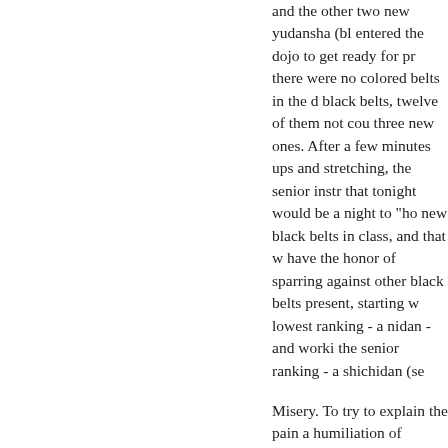and the other two new yudansha (bl entered the dojo to get ready for pr there were no colored belts in the d black belts, twelve of them not cou three new ones. After a few minutes ups and stretching, the senior instr that tonight would be a night to "ho new black belts in class, and that w have the honor of sparring against other black belts present, starting w lowest ranking - a nidan - and worki the senior ranking - a shichidan (se
Misery. To try to explain the pain a humiliation of fighting so many peo such varied levels of experience wo moot. By the time we each were ab the seventh dan, standing was a pa experience, let alone fighting. Suffi the shichidan proceeded ceremonio wipe the dojo floor with us, easily a thoroughly. It was our initiation int yudansha ranks, and the experience remind us that the shiny new black just received meant only that we we "beginners." It did more than give u bruises - it made us realize what h